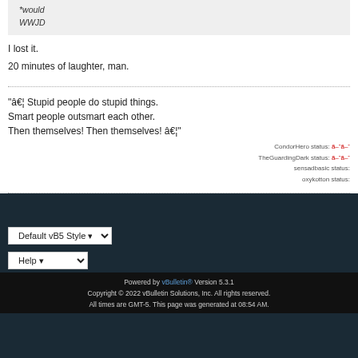*would
WWJD
I lost it.
20 minutes of laughter, man.
"â€¦ Stupid people do stupid things.
Smart people outsmart each other.
Then themselves! Then themselves! â€¦"
CondorHero status: ã–ˆã–ˆ
TheGuardingDark status: ã–ˆã–ˆ
sensadbasic status:
oxykotton status:
Default vB5 Style
Help
Powered by vBulletin® Version 5.3.1
Copyright © 2022 vBulletin Solutions, Inc. All rights reserved.
All times are GMT-5. This page was generated at 08:54 AM.